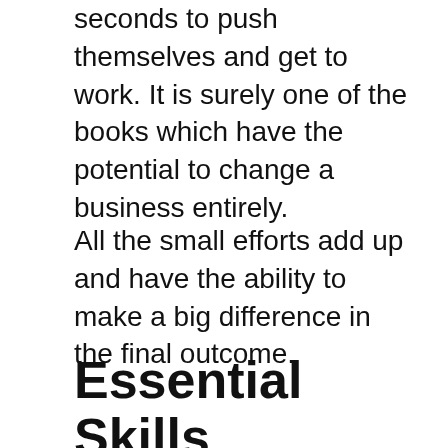seconds to push themselves and get to work. It is surely one of the books which have the potential to change a business entirely.
All the small efforts add up and have the ability to make a big difference in the final outcome.
Essential Skills